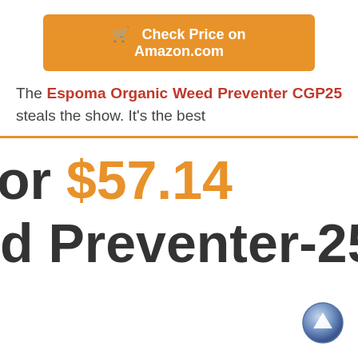[Figure (other): Orange 'Check Price on Amazon.com' button with cart icon]
The Espoma Organic Weed Preventer CGP25 steals the show. It's the best
or $57.14
d Preventer-25 lb.
[Figure (other): Back to top arrow button (blue circular icon with upward arrow)]